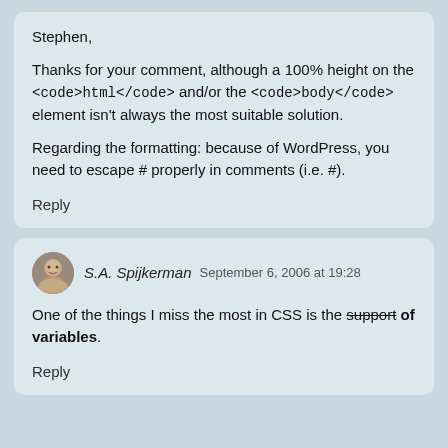Stephen,

Thanks for your comment, although a 100% height on the <code>html</code> and/or the <code>body</code> element isn't always the most suitable solution.

Regarding the formatting: because of WordPress, you need to escape # properly in comments (i.e. #).

Reply
S.A. Spijkerman  September 6, 2006 at 19:28

One of the things I miss the most in CSS is the support of variables.

Reply